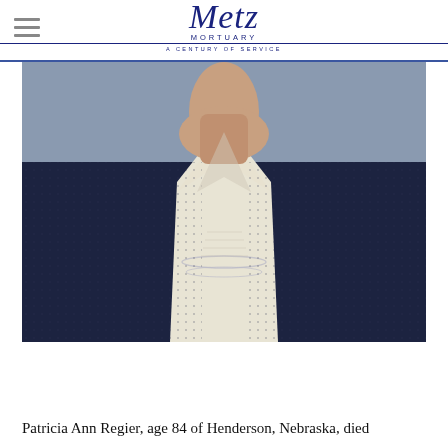Metz Mortuary — A Century of Service
[Figure (photo): Portrait photo showing the torso and lower face of an elderly woman wearing a dark navy cardigan over a white blouse with a delicate necklace, photographed against a neutral background.]
Patricia Ann Regier, age 84 of Henderson, Nebraska, died